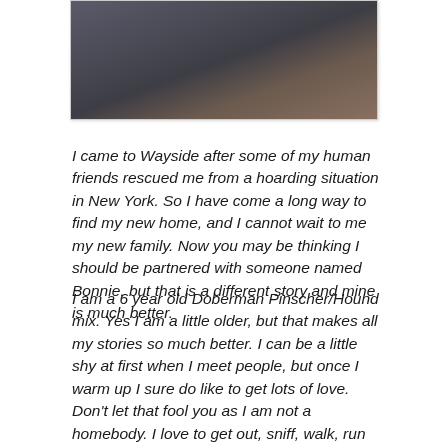[Figure (photo): Photo of a Doberman Pinscher/Hound mix dog, dark colored with tan markings, photographed outdoors]
I came to Wayside after some of my human friends rescued me from a hoarding situation in New York. So I have come a long way to find my new home, and I cannot wait to me my new family. Now you may be thinking I should be partnered with someone named Bonnie, but that is a different story and mine is much better.
I am a 6 year old Doberman Pinscher/Hound mix. Yes I am a little older, but that makes all my stories so much better. I can be a little shy at first when I meet people, but once I warm up I sure do like to get lots of love. Don't let that fool you as I am not a homebody. I love to get out, sniff, walk, run and when I am comfortable with everyone I just would like to play.